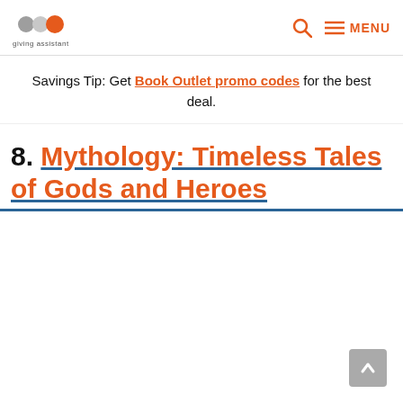giving assistant — MENU
Savings Tip: Get Book Outlet promo codes for the best deal.
8. Mythology: Timeless Tales of Gods and Heroes